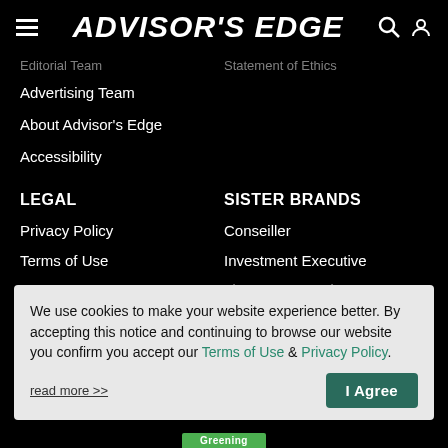ADVISOR'S EDGE
Editorial Team
Statement of Ethics
Advertising Team
About Advisor's Edge
Accessibility
LEGAL
SISTER BRANDS
Privacy Policy
Conseiller
Terms of Use
Investment Executive
Finance et Investissement
We use cookies to make your website experience better. By accepting this notice and continuing to browse our website you confirm you accept our Terms of Use & Privacy Policy.
read more >>
I Agree